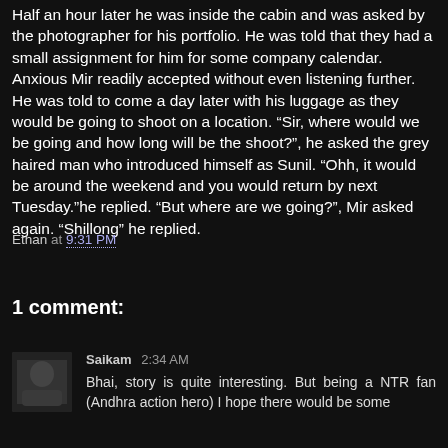Half an hour later he was inside the cabin and was asked by the photographer for his portfolio. He was told that they had a small assignment for him for some company calendar. Anxious Mir readily accepted without even listening further. He was told to come a day later with his luggage as they would be going to shoot on a location. “Sir, where would we be going and how long will be the shoot?”, he asked the grey haired man who introduced himself as Sunil. “Ohh, it would be around the weekend and you would return by next Tuesday.”he replied. “But where are we going?”, Mir asked again. “Shillong” he replied.
Ethan at 9:31 PM
Share
1 comment:
Saikam 2:34 AM
Bhai, story is quite interesting. But being a NTR fan (Andhra action hero) I hope there would be some